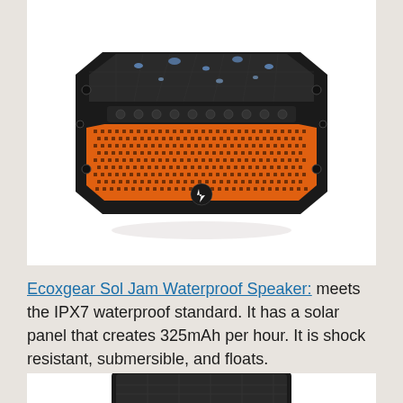[Figure (photo): Product photo of a rugged black and orange Bluetooth speaker (Ecoxgear Sol Jam) with water droplets on top, shown from the front against a white background.]
Ecoxgear Sol Jam Waterproof Speaker: meets the IPX7 waterproof standard. It has a solar panel that creates 325mAh per hour. It is shock resistant, submersible, and floats.
[Figure (photo): Partial product photo of another device (possibly the same speaker or a related product) showing the top portion with a solar panel, cropped at the bottom of the page.]